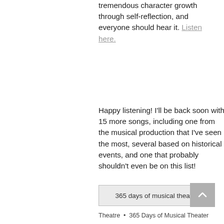tremendous character growth through self-reflection, and everyone should hear it. Listen here.
Happy listening! I'll be back soon with 15 more songs, including one from the musical production that I've seen the most, several based on historical events, and one that probably shouldn't even be on this list!
365 days of musical theater
Theatre  •  365 Days of Musical Theater